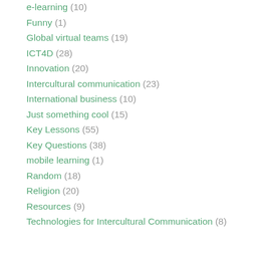e-learning (10)
Funny (1)
Global virtual teams (19)
ICT4D (28)
Innovation (20)
Intercultural communication (23)
International business (10)
Just something cool (15)
Key Lessons (55)
Key Questions (38)
mobile learning (1)
Random (18)
Religion (20)
Resources (9)
Technologies for Intercultural Communication (8)